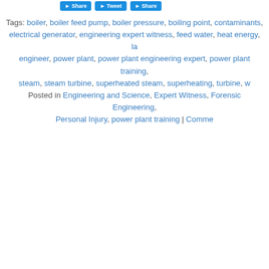Tags: boiler, boiler feed pump, boiler pressure, boiling point, contaminants, electrical generator, engineering expert witness, feed water, heat energy, la engineer, power plant, power plant engineering expert, power plant training, steam, steam turbine, superheated steam, superheating, turbine, w
Posted in Engineering and Science, Expert Witness, Forensic Engineering, Personal Injury, power plant training | Comme